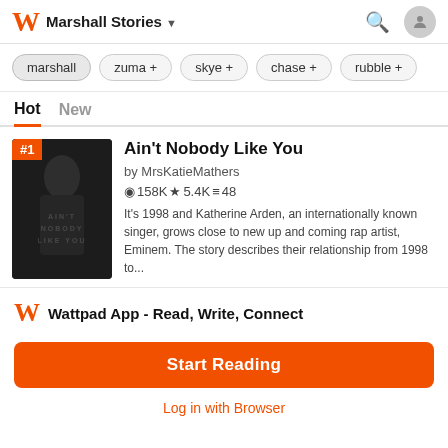Marshall Stories
marshall  zuma +  skye +  chase +  rubble +
Hot  New
[Figure (screenshot): Book cover image for 'Ain't Nobody Like You', dark monochrome photo of a woman, rank badge #1 in orange]
Ain't Nobody Like You
by MrsKatieMathers
158K ★5.4K ≡48
It's 1998 and Katherine Arden, an internationally known singer, grows close to new up and coming rap artist, Eminem. The story describes their relationship from 1998 to...
Wattpad App - Read, Write, Connect
Start Reading
Log in with Browser